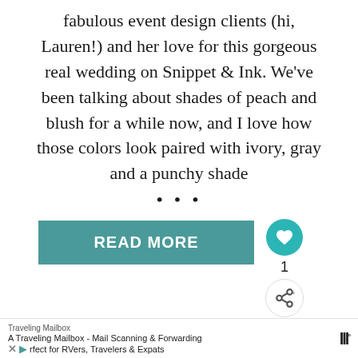fabulous event design clients (hi, Lauren!) and her love for this gorgeous real wedding on Snippet & Ink. We've been talking about shades of peach and blush for a while now, and I love how those colors look paired with ivory, gray and a punchy shade
...
READ MORE
[Figure (photo): Close-up photo of a floral wedding bouquet with soft peach and blush flowers]
WHAT'S NEXT → Ash is Getting Married!...
Traveling Mailbox
A Traveling Mailbox - Mail Scanning & Forwarding
rfect for RVers, Travelers & Expats